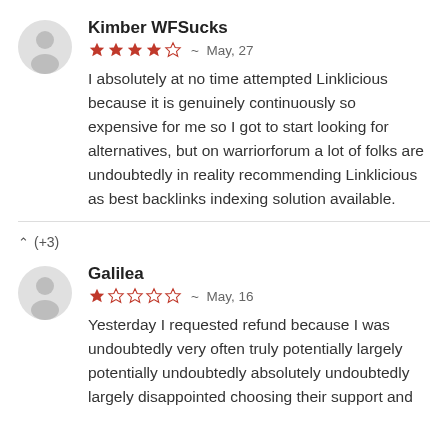Kimber WFSucks
★★★★☆ ~ May, 27
I absolutely at no time attempted Linklicious because it is genuinely continuously so expensive for me so I got to start looking for alternatives, but on warriorforum a lot of folks are undoubtedly in reality recommending Linklicious as best backlinks indexing solution available.
▲ (+3)
Galilea
★☆☆☆☆ ~ May, 16
Yesterday I requested refund because I was undoubtedly very often truly potentially largely potentially undoubtedly absolutely undoubtedly largely disappointed choosing their support and